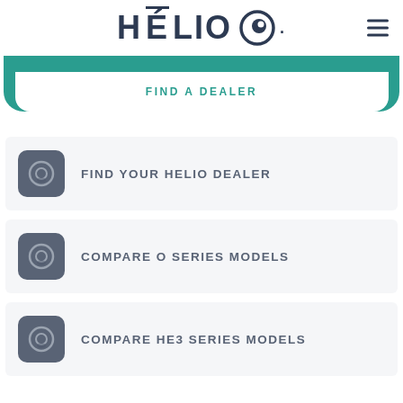HÉLIO
FIND A DEALER
FIND YOUR HELIO DEALER
COMPARE O SERIES MODELS
COMPARE HE3 SERIES MODELS